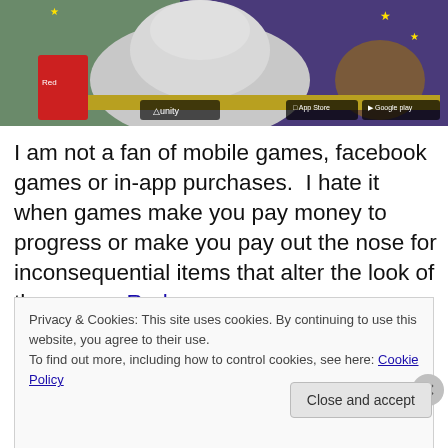[Figure (screenshot): Banner image showing a game scene with fantasy characters, Unity logo badge, App Store and Google Play badges in the bottom corners.]
I am not a fan of mobile games, facebook games or in-app purchases.  I hate it when games make you pay money to progress or make you pay out the nose for inconsequential items that alter the look of the game.  Red
Privacy & Cookies: This site uses cookies. By continuing to use this website, you agree to their use.
To find out more, including how to control cookies, see here: Cookie Policy
Close and accept